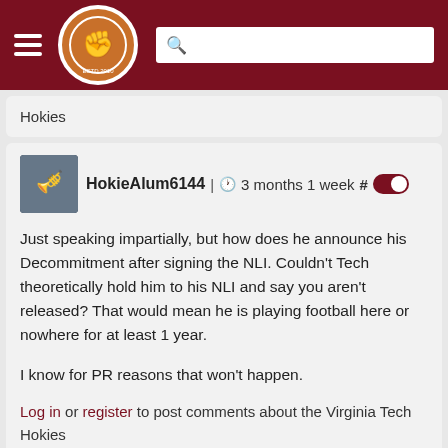The Key Play - site header with logo and search bar
Hokies
HokieAlum6144 | 3 months 1 week #
Just speaking impartially, but how does he announce his Decommitment after signing the NLI. Couldn't Tech theoretically hold him to his NLI and say you aren't released? That would mean he is playing football here or nowhere for at least 1 year.

I know for PR reasons that won't happen.
Log in or register to post comments about the Virginia Tech Hokies
gobble gobble chumps PLS | 3 months 1